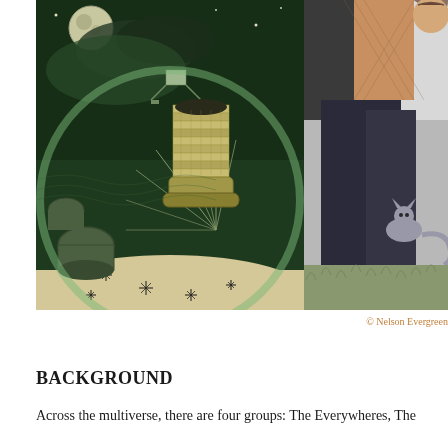[Figure (illustration): Split illustration: left half shows a detailed woodcut-style drawing of an astronaut boot on a moonscape with moon in sky, scattered equipment, and radiating light; right half shows a black-and-white photo of a woman with a cat on grass.]
© Nelson Evergreen
BACKGROUND
Across the multiverse, there are four groups: The Everywheres, The